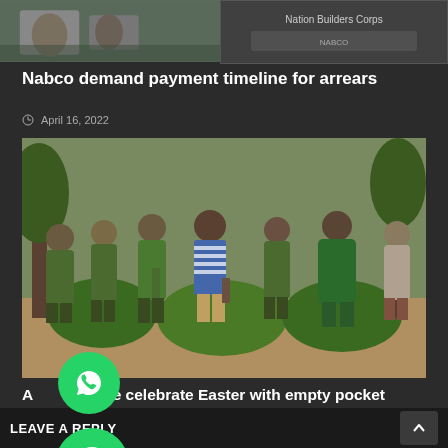[Figure (photo): Top strip showing partial images: left side shows people seated, right side shows Nation Builders Corps logo/text on dark background]
Nabco demand payment timeline for arrears
April 16, 2022
[Figure (photo): Group of people in green military-style uniforms handling young green saplings/plants outdoors, with one person in blue striped shirt and one in green patterned fabric]
A...tion-we celebrate Easter with empty pocket hence u...or arrears
April 16, 2022
LEAVE A REPLY